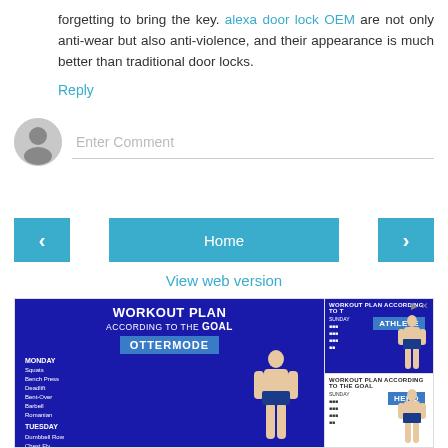forgetting to bring the key. alexa door lock OEM are not only anti-wear but also anti-violence, and their appearance is much better than traditional door locks.
Reply
[Figure (other): User avatar icon for comment entry]
Enter Comment
< (previous navigation button)
Home
> (next navigation button)
View web version
[Figure (illustration): Advertisement banner: WORKOUT PLAN ACCORDING TO THE GOAL with OTTERMODE and ATHLETE and HERO sections showing bodybuilder figure and workout schedule]